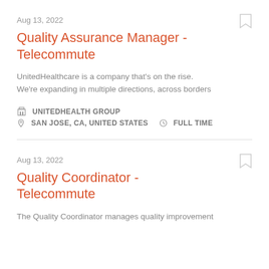Aug 13, 2022
Quality Assurance Manager - Telecommute
UnitedHealthcare is a company that's on the rise. We're expanding in multiple directions, across borders
UNITEDHEALTH GROUP
SAN JOSE, CA, UNITED STATES   FULL TIME
Aug 13, 2022
Quality Coordinator - Telecommute
The Quality Coordinator manages quality improvement